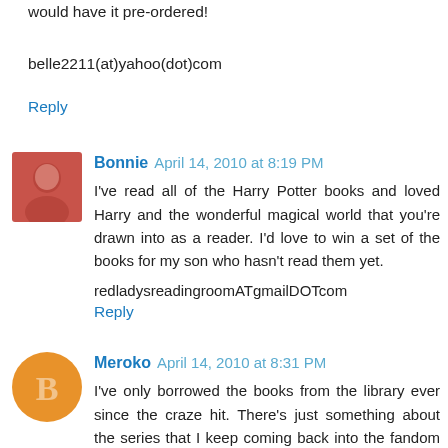would have it pre-ordered!
belle2211(at)yahoo(dot)com
Reply
Bonnie  April 14, 2010 at 8:19 PM
I've read all of the Harry Potter books and loved Harry and the wonderful magical world that you're drawn into as a reader. I'd love to win a set of the books for my son who hasn't read them yet.
redladysreadingroomATgmailDOTcom
Reply
Meroko  April 14, 2010 at 8:31 PM
I've only borrowed the books from the library ever since the craze hit. There's just something about the series that I keep coming back into the fandom to look at all the fanart and fanfics that accumulate. I would love to own a full set of